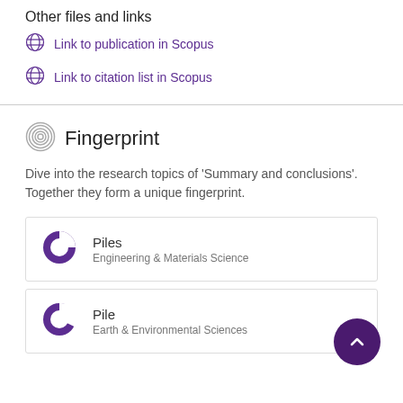Other files and links
Link to publication in Scopus
Link to citation list in Scopus
Fingerprint
Dive into the research topics of 'Summary and conclusions'. Together they form a unique fingerprint.
Piles
Engineering & Materials Science
Pile
Earth & Environmental Sciences